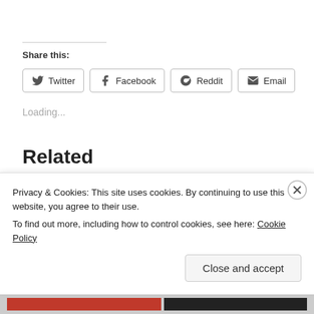Share this:
Twitter | Facebook | Reddit | Email
Loading...
Related
Privacy & Cookies: This site uses cookies. By continuing to use this website, you agree to their use.
To find out more, including how to control cookies, see here: Cookie Policy
Close and accept